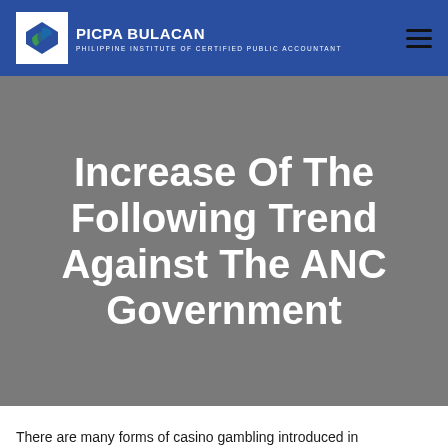PICPA BULACAN — PHILIPPINE INSTITUTE OF CERTIFIED PUBLIC ACCOUNTANT
Increase Of The Following Trend Against The ANC Government
There are many forms of casino gambling introduced in